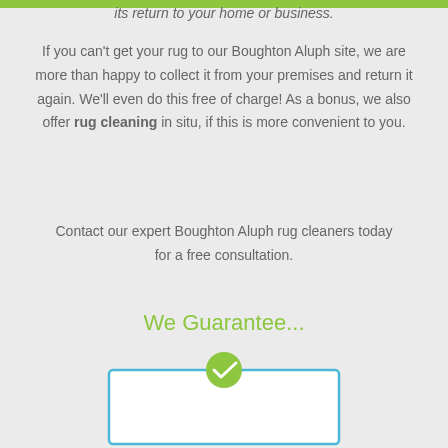its return to your home or business.
If you can't get your rug to our Boughton Aluph site, we are more than happy to collect it from your premises and return it again. We'll even do this free of charge! As a bonus, we also offer rug cleaning in situ, if this is more convenient to you.
Contact our expert Boughton Aluph rug cleaners today for a free consultation.
We Guarantee...
[Figure (illustration): A white card with a blue border and a green checkmark circle badge at the top center]